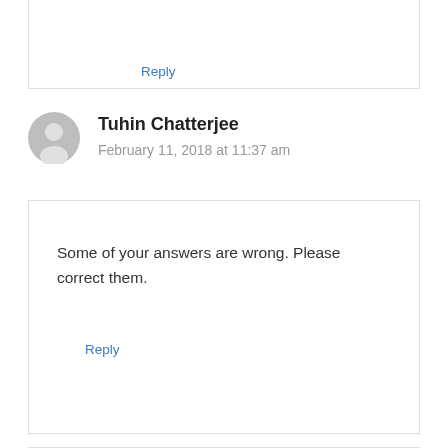Reply
Tuhin Chatterjee
February 11, 2018 at 11:37 am
Some of your answers are wrong. Please correct them.
Reply